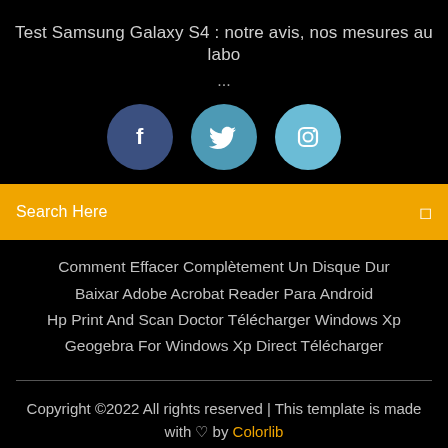Test Samsung Galaxy S4 : notre avis, nos mesures au labo
...
[Figure (illustration): Three social media icons: Facebook (dark blue circle with 'f'), Twitter (medium blue circle with bird), Instagram (light blue circle with camera)]
Search Here
Comment Effacer Complètement Un Disque Dur
Baixar Adobe Acrobat Reader Para Android
Hp Print And Scan Doctor Télécharger Windows Xp
Geogebra For Windows Xp Direct Télécharger
Copyright ©2022 All rights reserved | This template is made with ♡ by Colorlib